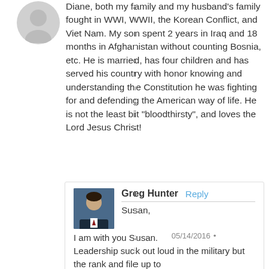Diane, both my family and my husband's family fought in WWI, WWII, the Korean Conflict, and Viet Nam. My son spent 2 years in Iraq and 18 months in Afghanistan without counting Bosnia, etc. He is married, has four children and has served his country with honor knowing and understanding the Constitution he was fighting for and defending the American way of life. He is not the least bit “bloodthirsty”, and loves the Lord Jesus Christ!
Greg Hunter  Reply
Susan,
05/14/2016 •
I am with you Susan.
Leadership suck out loud in the military but the rank and file up to